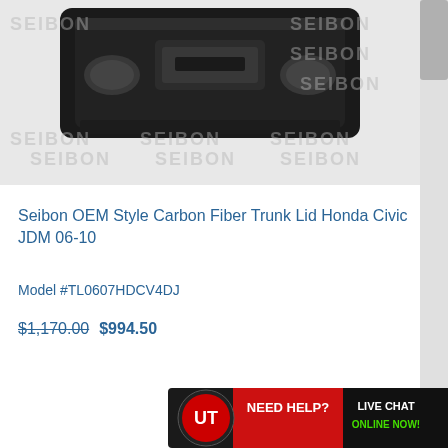[Figure (photo): Carbon fiber trunk lid for Honda Civic JDM, dark/black finish, shown against a light grey background with SEIBON watermarks repeated across the image.]
Seibon OEM Style Carbon Fiber Trunk Lid Honda Civic JDM 06-10
Model #TL0607HDCV4DJ
$1,170.00  $994.50
[Figure (infographic): Need Help? Live Chat Online Now! banner with UT logo in red and dark background.]